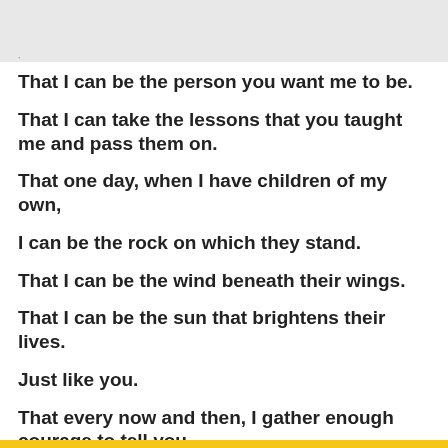That I can be the person you want me to be.
That I can take the lessons that you taught me and pass them on.
That one day, when I have children of my own,
I can be the rock on which they stand.
That I can be the wind beneath their wings.
That I can be the sun that brightens their lives.
Just like you.
That every now and then, I gather enough courage to tell you,